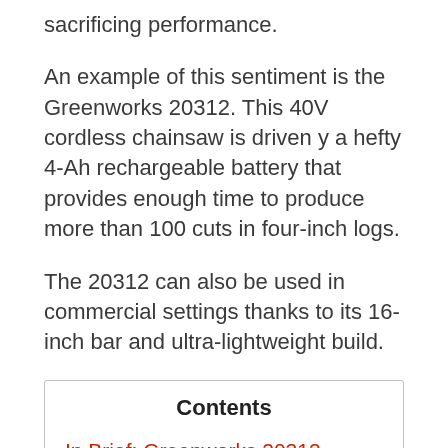sacrificing performance.
An example of this sentiment is the Greenworks 20312. This 40V cordless chainsaw is driven y a hefty 4-Ah rechargeable battery that provides enough time to produce more than 100 cuts in four-inch logs.
The 20312 can also be used in commercial settings thanks to its 16-inch bar and ultra-lightweight build.
Contents
In Brief: Greenworks 20312 Chainsaw